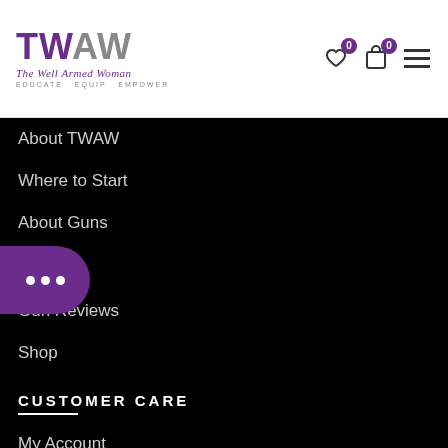TWAW - The Well Armed Woman - Educate Equip Empower
About TWAW
Where to Start
About Guns
Gun Reviews
Shop
CUSTOMER CARE
My Account
FAQs
Shipping & Returns
Terms & Conditions
Privacy Policy